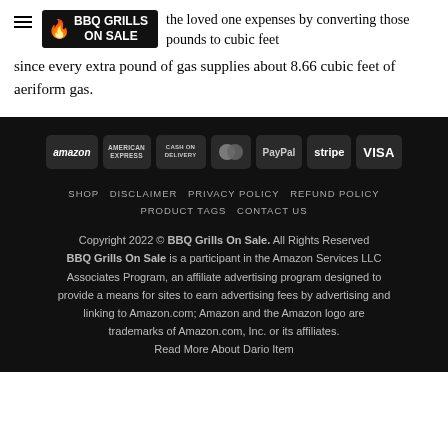BBQ GRILLS ON SALE
However you can … the loved one expenses by converting those pounds to cubic feet since every extra pound of gas supplies about 8.66 cubic feet of aeriform gas.
[Figure (logo): Payment method icons: amazon, American Express, Cash on Delivery, MasterCard, PayPal, Stripe, VISA]
SHOP  DISCLAIMER  PRIVACY POLICY  REFUND POLICY  PRODUCT TAGS  CONTACT US

Copyright 2022 © BBQ Grills On Sale. All Rights Reserved
BBQ Grills On Sale is a participant in the Amazon Services LLC Associates Program, an affiliate advertising program designed to provide a means for sites to earn advertising fees by advertising and linking to Amazon.com; Amazon and the Amazon logo are trademarks of Amazon.com, Inc. or its affiliates.
Read More About Dario Item